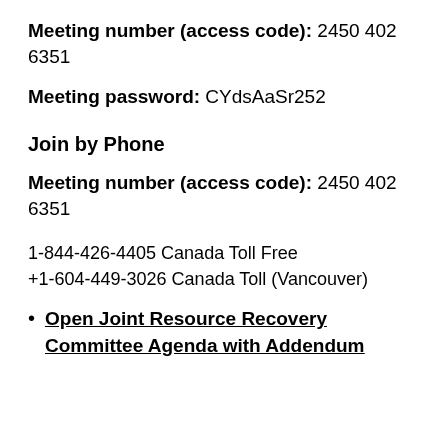Meeting number (access code): 2450 402 6351
Meeting password: CYdsAaSr252
Join by Phone
Meeting number (access code): 2450 402 6351
1-844-426-4405 Canada Toll Free
+1-604-449-3026 Canada Toll (Vancouver)
Open Joint Resource Recovery Committee Agenda with Addendum